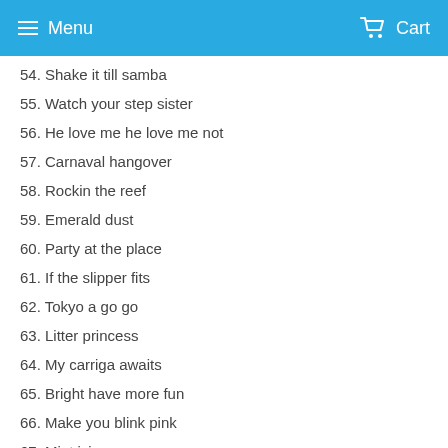Menu  Cart
54. Shake it till samba
55. Watch your step sister
56. He love me he love me not
57. Carnaval hangover
58. Rockin the reef
59. Emerald dust
60. Party at the place
61. If the slipper fits
62. Tokyo a go go
63. Litter princess
64. My carriga awaits
65. Bright have more fun
66. Make you blink pink
67. Mint icing